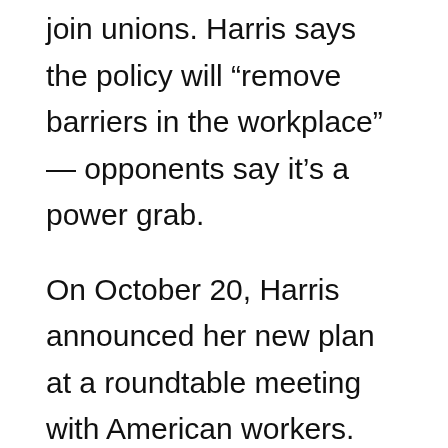join unions. Harris says the policy will “remove barriers in the workplace” — opponents say it’s a power grab.
On October 20, Harris announced her new plan at a roundtable meeting with American workers. She wants federal agencies to give applicants and new hires information about unions during the hiring process. The requirements would include reminding workers of their right to join a union, which supervisors could easily present in a way that makes joining one seem the “recommended” choice—though they’re